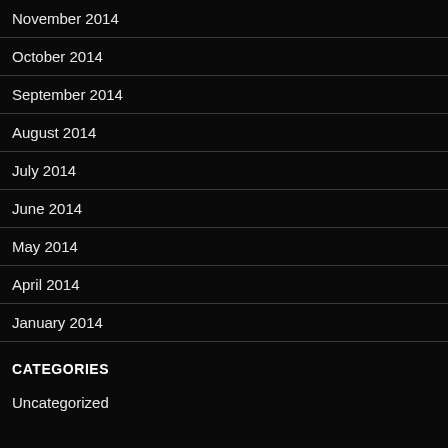November 2014
October 2014
September 2014
August 2014
July 2014
June 2014
May 2014
April 2014
January 2014
CATEGORIES
Uncategorized